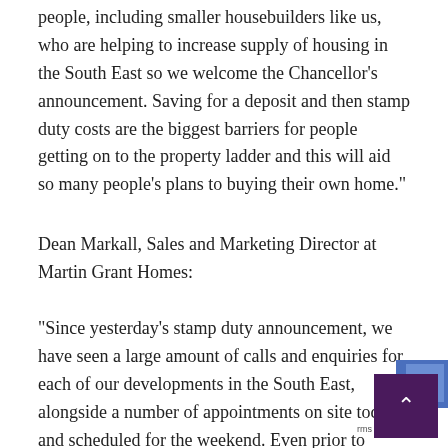people, including smaller housebuilders like us, who are helping to increase supply of housing in the South East so we welcome the Chancellor’s announcement. Saving for a deposit and then stamp duty costs are the biggest barriers for people getting on to the property ladder and this will aid so many people’s plans to buying their own home.”
Dean Markall, Sales and Marketing Director at Martin Grant Homes:
“Since yesterday’s stamp duty announcement, we have seen a large amount of calls and enquiries for each of our developments in the South East, alongside a number of appointments on site today, and scheduled for the weekend. Even prior to yesterday’s